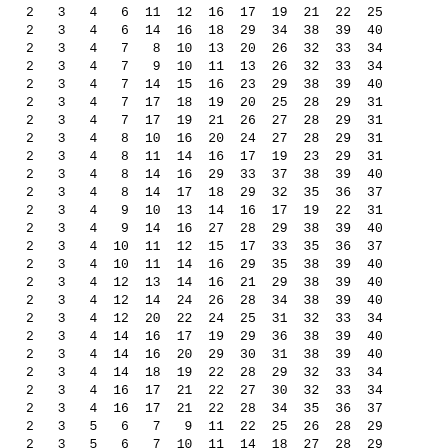| 2 | 3 | 4 | 6 | 11 | 12 | 16 | 17 | 19 | 21 | 22 | 25 |
| 2 | 3 | 4 | 6 | 14 | 16 | 18 | 29 | 34 | 38 | 39 | 40 |
| 2 | 3 | 4 | 7 | 8 | 10 | 13 | 20 | 26 | 32 | 33 | 34 |
| 2 | 3 | 4 | 7 | 9 | 10 | 11 | 13 | 26 | 32 | 33 | 34 |
| 2 | 3 | 4 | 7 | 14 | 15 | 16 | 23 | 29 | 38 | 39 | 40 |
| 2 | 3 | 4 | 7 | 17 | 18 | 19 | 20 | 25 | 28 | 29 | 31 |
| 2 | 3 | 4 | 7 | 17 | 19 | 21 | 26 | 27 | 28 | 29 | 31 |
| 2 | 3 | 4 | 8 | 10 | 16 | 20 | 24 | 27 | 28 | 29 | 31 |
| 2 | 3 | 4 | 8 | 11 | 14 | 16 | 17 | 19 | 23 | 29 | 31 |
| 2 | 3 | 4 | 8 | 14 | 16 | 29 | 33 | 37 | 38 | 39 | 40 |
| 2 | 3 | 4 | 8 | 14 | 17 | 18 | 29 | 32 | 35 | 36 | 37 |
| 2 | 3 | 4 | 9 | 10 | 13 | 14 | 16 | 17 | 19 | 22 | 31 |
| 2 | 3 | 4 | 9 | 14 | 16 | 27 | 28 | 29 | 38 | 39 | 40 |
| 2 | 3 | 4 | 10 | 11 | 12 | 15 | 17 | 33 | 35 | 36 | 37 |
| 2 | 3 | 4 | 10 | 11 | 14 | 16 | 29 | 35 | 38 | 39 | 40 |
| 2 | 3 | 4 | 12 | 13 | 14 | 16 | 21 | 29 | 38 | 39 | 40 |
| 2 | 3 | 4 | 12 | 14 | 24 | 26 | 28 | 34 | 38 | 39 | 40 |
| 2 | 3 | 4 | 12 | 20 | 22 | 24 | 25 | 31 | 32 | 33 | 34 |
| 2 | 3 | 4 | 14 | 16 | 17 | 19 | 29 | 36 | 38 | 39 | 40 |
| 2 | 3 | 4 | 14 | 16 | 20 | 29 | 30 | 31 | 38 | 39 | 40 |
| 2 | 3 | 4 | 14 | 18 | 19 | 22 | 28 | 29 | 32 | 33 | 34 |
| 2 | 3 | 4 | 16 | 17 | 21 | 22 | 27 | 30 | 32 | 33 | 34 |
| 2 | 3 | 4 | 16 | 17 | 21 | 22 | 28 | 34 | 35 | 36 | 37 |
| 2 | 3 | 5 | 6 | 7 | 9 | 11 | 22 | 25 | 26 | 28 | 29 |
| 2 | 3 | 5 | 6 | 7 | 10 | 11 | 14 | 18 | 27 | 28 | 29 |
| 2 | 3 | 5 | 6 | 7 | 11 | 13 | 16 | 20 | 21 | 28 | 29 |
| 2 | 3 | 5 | 6 | 8 | 11 | 12 | 15 | 17 | 24 | 30 | 31 |
| 2 | 3 | 5 | 6 | 9 | 20 | 26 | 27 | 30 | 35 | 36 | 37 |
| 2 | 3 | 5 | 7 | 8 | 10 | 11 | 17 | 22 | 23 | 28 | 31 |
| 2 | 3 | 5 | 7 | 8 | 15 | 16 | 21 | 22 | 27 | 28 | 31 |